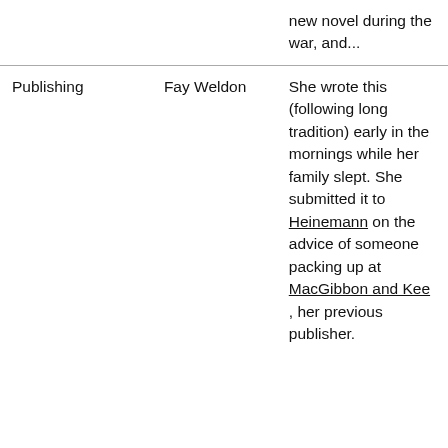|  |  | new novel during the war, and... |
| Publishing | Fay Weldon | She wrote this (following long tradition) early in the mornings while her family slept. She submitted it to Heinemann on the advice of someone packing up at MacGibbon and Kee , her previous publisher. |